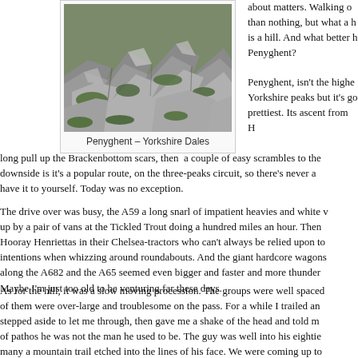[Figure (photo): Rocky hillside with green moss and stone outcrops, Penyghent in Yorkshire Dales]
Penyghent – Yorkshire Dales
about matters. Walking offers more than nothing, but what a hill is a hill. And what better hill than Penyghent?
Penyghent, isn't the highest of the Yorkshire peaks but it's got to be the prettiest. Its ascent from H... long pull up the Brackenbottom scars, then a couple of easy scrambles to the... downside is it's a popular route, on the three-peaks circuit, so there's never a... have it to yourself. Today was no exception.
The drive over was busy, the A59 a long snarl of impatient heavies and white vans... up by a pair of vans at the Tickled Trout doing a hundred miles an hour. Then Hooray Henriettas in their Chelsea-tractors who can't always be relied upon to signal their intentions when whizzing around roundabouts. And the giant hardcore wagons along the A682 and the A65 seemed even bigger and faster and more thunderous. Maybe I'm just too old to be venturing far these days.
As for the hill, it was a slow moving procession. The groups were well spaced... of them were over-large and troublesome on the pass. For a while I trailed an... stepped aside to let me through, then gave me a shake of the head and told me with a mixture of pathos he was not the man he used to be. The guy was well into his eighties, many a mountain trail etched into the lines of his face. We were coming up to the 550 meter contour by then and a couple of miles out of Horton, so he wasn't doing...